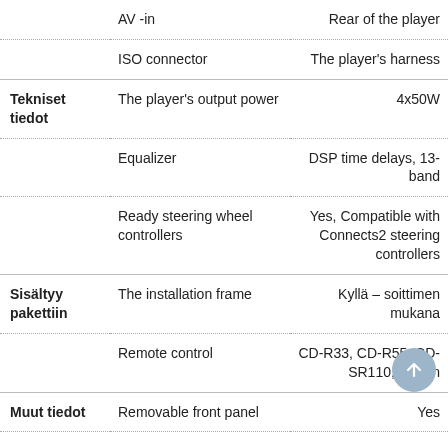| Category | Feature | Value |
| --- | --- | --- |
|  | AV -in | Rear of the player |
|  | ISO connector | The player's harness |
| Tekniset tiedot | The player's output power | 4x50W |
|  | Equalizer | DSP time delays, 13-band |
|  | Ready steering wheel controllers | Yes, Compatible with Connects2 steering controllers |
| Sisältyy pakettiin | The installation frame | Kyllä – soittimen mukana |
|  | Remote control | CD-R33, CD-R55, CD-SR110, Option |
| Muut tiedot | Removable front panel | Yes |